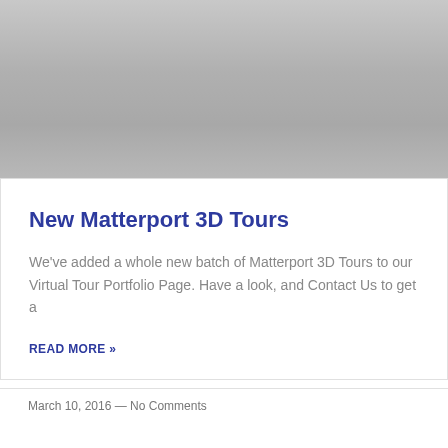[Figure (photo): Gray gradient placeholder image at the top of the card]
New Matterport 3D Tours
We've added a whole new batch of Matterport 3D Tours to our Virtual Tour Portfolio Page. Have a look, and Contact Us to get a
READ MORE »
March 10, 2016 — No Comments